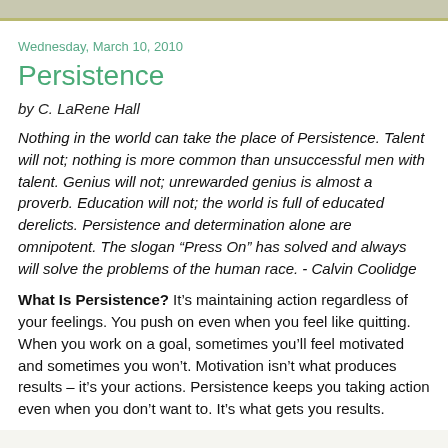Wednesday, March 10, 2010
Persistence
by C. LaRene Hall
Nothing in the world can take the place of Persistence. Talent will not; nothing is more common than unsuccessful men with talent. Genius will not; unrewarded genius is almost a proverb. Education will not; the world is full of educated derelicts. Persistence and determination alone are omnipotent. The slogan “Press On” has solved and always will solve the problems of the human race. - Calvin Coolidge
What Is Persistence? It’s maintaining action regardless of your feelings. You push on even when you feel like quitting. When you work on a goal, sometimes you’ll feel motivated and sometimes you won’t. Motivation isn’t what produces results – it’s your actions. Persistence keeps you taking action even when you don’t want to. It’s what gets you results.